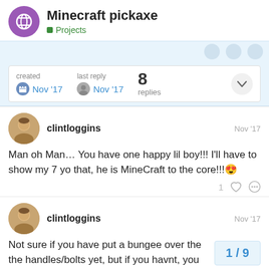Minecraft pickaxe — Projects
created Nov '17  last reply Nov '17  8 replies
clintloggins  Nov '17
Man oh Man… You have one happy lil boy!!! I'll have to show my 7 yo that, he is MineCraft to the core!!! 😍
clintloggins  Nov '17
Not sure if you have put a bungee over the handles/bolts yet, but if you havnt, you
1 / 9